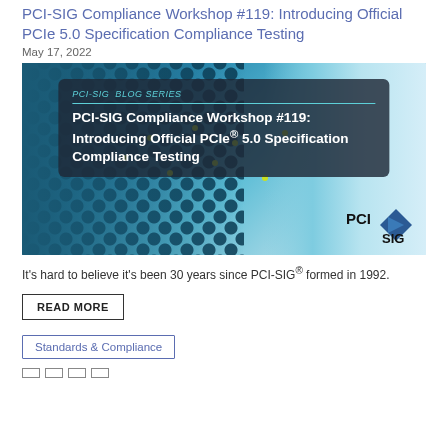PCI-SIG Compliance Workshop #119: Introducing Official PCIe 5.0 Specification Compliance Testing
May 17, 2022
[Figure (photo): Hero image showing a dark blue circuit board with dot pattern on the left and a light blue abstract background on the right, with a dark overlay box containing the text 'PCI-SIG BLOG SERIES' and 'PCI-SIG Compliance Workshop #119: Introducing Official PCIe® 5.0 Specification Compliance Testing', and the PCI-SIG logo in the bottom right corner.]
It's hard to believe it's been 30 years since PCI-SIG® formed in 1992.
READ MORE
Standards & Compliance